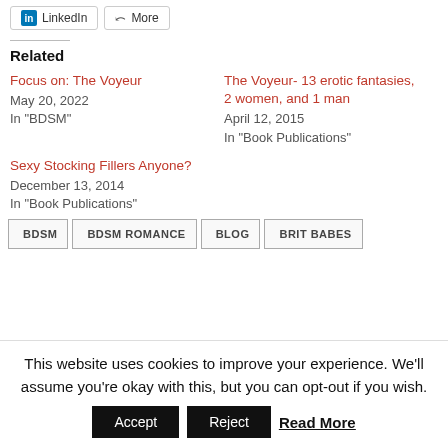LinkedIn
More
Related
Focus on: The Voyeur
May 20, 2022
In "BDSM"
The Voyeur- 13 erotic fantasies, 2 women, and 1 man
April 12, 2015
In "Book Publications"
Sexy Stocking Fillers Anyone?
December 13, 2014
In "Book Publications"
BDSM
BDSM ROMANCE
BLOG
BRIT BABES
This website uses cookies to improve your experience. We'll assume you're okay with this, but you can opt-out if you wish.
Accept  Reject  Read More